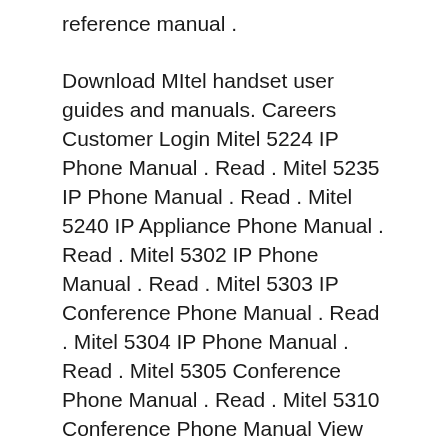reference manual .
Download MItel handset user guides and manuals. Careers Customer Login Mitel 5224 IP Phone Manual . Read . Mitel 5235 IP Phone Manual . Read . Mitel 5240 IP Appliance Phone Manual . Read . Mitel 5302 IP Phone Manual . Read . Mitel 5303 IP Conference Phone Manual . Read . Mitel 5304 IP Phone Manual . Read . Mitel 5305 Conference Phone Manual . Read . Mitel 5310 Conference Phone Manual View and Download Mitel 5224 user manual online. 3300 IP Communications Platform. 5224 IP Phone pdf manual download. Also for: 5324.